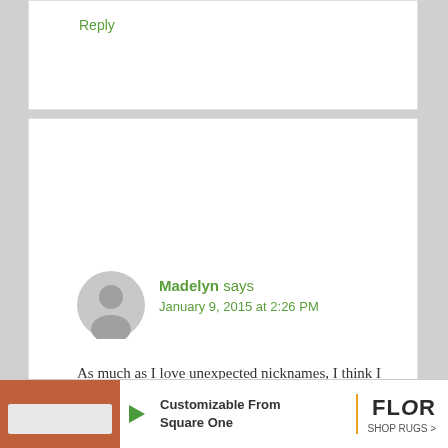Reply
Madelyn says
January 9, 2015 at 2:26 PM
As much as I love unexpected nicknames, I think I prefer good ol’ Penny for Penelope. I still, however, would love to meet a Polly and Lola who were secret Penelopes.
Reply
[Figure (infographic): Advertisement banner for FLOR shop rugs with play button logo, orange rug image, text 'Customizable From Square One', and FLOR SHOP RUGS branding]